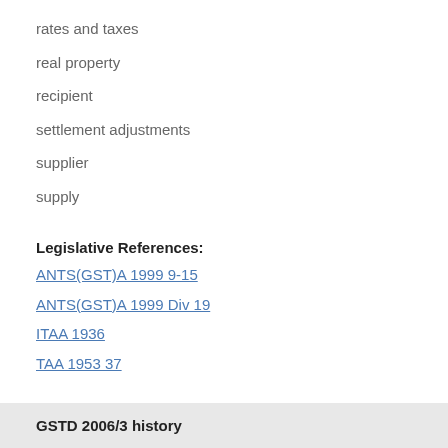rates and taxes
real property
recipient
settlement adjustments
supplier
supply
Legislative References:
ANTS(GST)A 1999 9-15
ANTS(GST)A 1999 Div 19
ITAA 1936
TAA 1953 37
Case References:
Commissioner of Taxation v. Morgan
(1961) 106 CLR 517
GSTD 2006/3 history